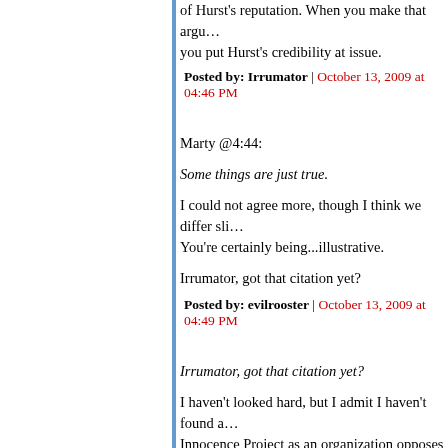of Hurst's reputation. When you make that argu... you put Hurst's credibility at issue.
Posted by: Irrumator | October 13, 2009 at 04:46 PM
Marty @4:44:
Some things are just true.
I could not agree more, though I think we differ sli... You're certainly being...illustrative.
Irrumator, got that citation yet?
Posted by: evilrooster | October 13, 2009 at 04:49 PM
Irrumator, got that citation yet?
I haven't looked hard, but I admit I haven't found a... Innocence Project as an organization opposes the... circumstances. However, Barry Scheck and Peter... death penalty. What's worse is that they helped C... murder. The Innocence Project is an outfit founde... which should tell you all you need to know.
Posted by: Irrumator | October 13, 2009 at 04:53 PM